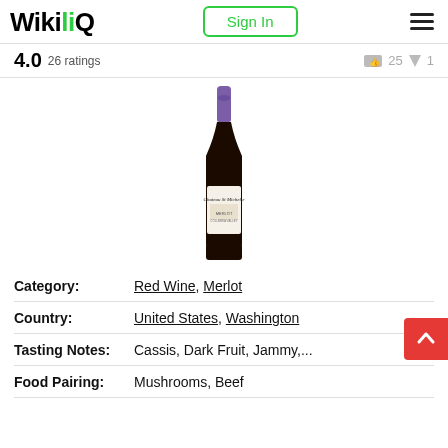WikiliQ — Sign In — Menu
4.0  26 ratings
[Figure (photo): Chateau Ste. Michelle Merlot wine bottle with purple foil cap and white label, on white background.]
| Category: | Red Wine, Merlot |
| Country: | United States, Washington |
| Tasting Notes: | Cassis, Dark Fruit, Jammy,... |
| Food Pairing: | Mushrooms, Beef |